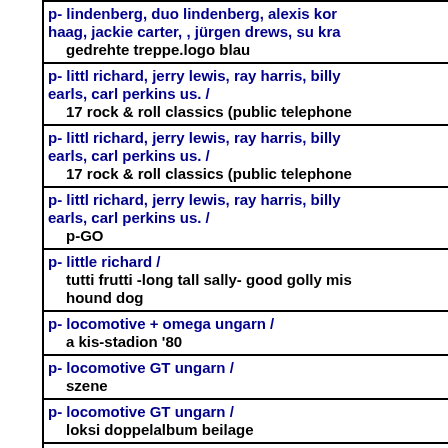p- lindenberg, duo lindenberg, alexis korner, haag, jackie carter, , jürgen drews, su kra / gedrehte treppe.logo blau
p- littl richard, jerry lewis, ray harris, billy earls, carl perkins us. / 17 rock & roll classics (public telephone
p- littl richard, jerry lewis, ray harris, billy earls, carl perkins us. / 17 rock & roll classics (public telephone
p- littl richard, jerry lewis, ray harris, billy earls, carl perkins us. / p-GO
p- little richard / tutti frutti -long tall sally- good golly mis hound dog
p- locomotive + omega ungarn / a kis-stadion '80
p- locomotive GT ungarn / szene
p- locomotive GT ungarn / loksi doppelalbum beilage
p- locomotive GT ungarn / loksi doppelalbum beilage
p- locomotive GT ungarn /